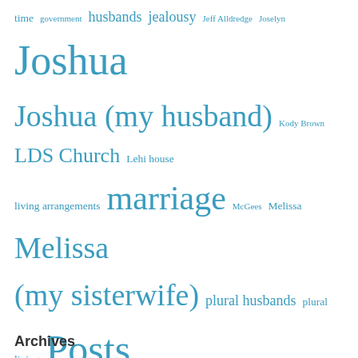time government husbands jealousy Jeff Alldredge Joselyn Joshua Joshua (my husband) Kody Brown LDS Church Lehi house living arrangements marriage McGees Melissa Melissa (my sisterwife) plural husbands plural living Posts by Charlotte Posts by Joshua Posts by Melissa reality TV drama Relationships sealing Seeking Sister Wife Sex Sharis Alldredge sisterwives relationships Snowden family Snowdens Sophie Winder Tami Winder telling your friends telling your parents TLC Utah Vanessa Alldredge Vanessa Cobbs
Archives